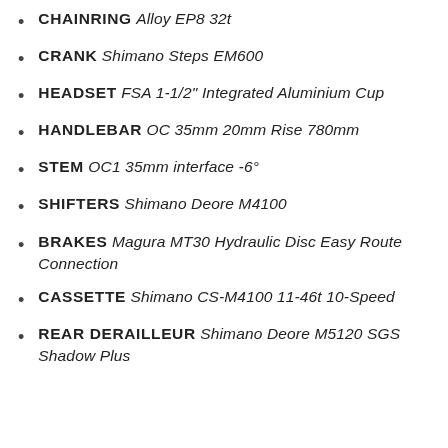CHAINRING Alloy EP8 32t
CRANK Shimano Steps EM600
HEADSET FSA 1-1/2" Integrated Aluminium Cup
HANDLEBAR OC 35mm 20mm Rise 780mm
STEM OC1 35mm interface -6°
SHIFTERS Shimano Deore M4100
BRAKES Magura MT30 Hydraulic Disc Easy Route Connection
CASSETTE Shimano CS-M4100 11-46t 10-Speed
REAR DERAILLEUR Shimano Deore M5120 SGS Shadow Plus